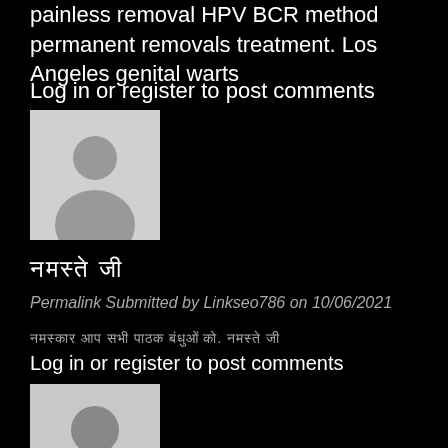painless removal HPV BCR method permanent removals treatment. Los Angeles genital warts
Log in or register to post comments
[Figure (illustration): Generic user avatar placeholder image - silhouette of a person on light gray background]
नमस्ते जी
Permalink Submitted by Linkseo786 on 10/06/2021
नमस्कार आप सभी पाठक बंधुओं को. नमस्ते जी
Log in or register to post comments
[Figure (illustration): Generic user avatar placeholder image - silhouette of a person on light gray background]
situs poker online terpercaya
Permalink Submitted by Linkseo786 on 10/06/2021